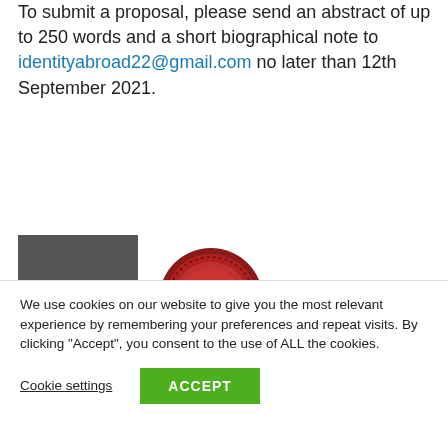To submit a proposal, please send an abstract of up to 250 words and a short biographical note to identityabroad22@gmail.com no later than 12th September 2021.
[Figure (logo): CRASSH logo (grey square with white text) and Haskins Society logo (red wax seal with HS, next to bold text 'HASKINS SOCIETY')]
[Figure (logo): Green banner with small tree/building icon and text 'Society for the']
We use cookies on our website to give you the most relevant experience by remembering your preferences and repeat visits. By clicking “Accept”, you consent to the use of ALL the cookies.
Cookie settings   ACCEPT